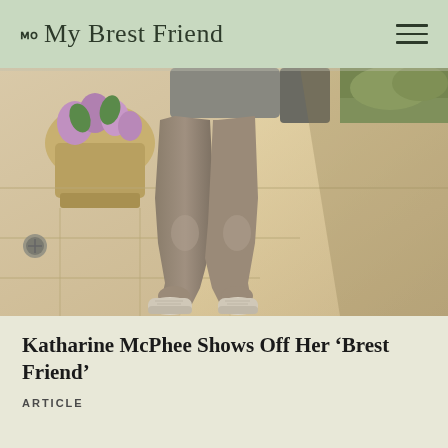My Brest Friend
[Figure (photo): Lower body of a person wearing taupe/khaki athletic leggings and white sneakers, standing on a stone patio with flowers and greenery in the background.]
Katharine McPhee Shows Off Her ‘Brest Friend’
ARTICLE